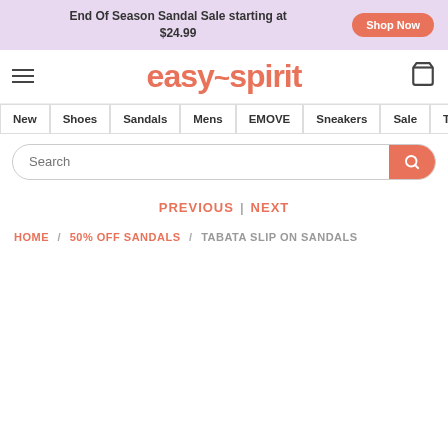End Of Season Sandal Sale starting at $24.99
Shop Now
Details
[Figure (logo): Easy Spirit logo with hamburger menu and shopping bag icon]
New | Shoes | Sandals | Mens | EMOVE | Sneakers | Sale | Tr...
Search
PREVIOUS | NEXT
HOME / 50% OFF SANDALS / TABATA SLIP ON SANDALS